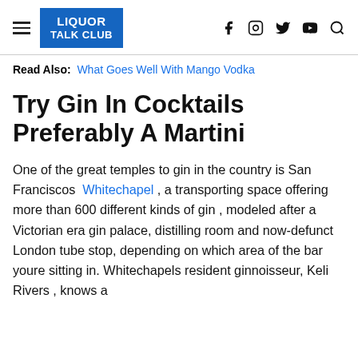LIQUOR TALK CLUB
Read Also: What Goes Well With Mango Vodka
Try Gin In Cocktails Preferably A Martini
One of the great temples to gin in the country is San Franciscos Whitechapel , a transporting space offering more than 600 different kinds of gin , modeled after a Victorian era gin palace, distilling room and now-defunct London tube stop, depending on which area of the bar youre sitting in. Whitechapels resident ginnoisseur, Keli Rivers , knows a